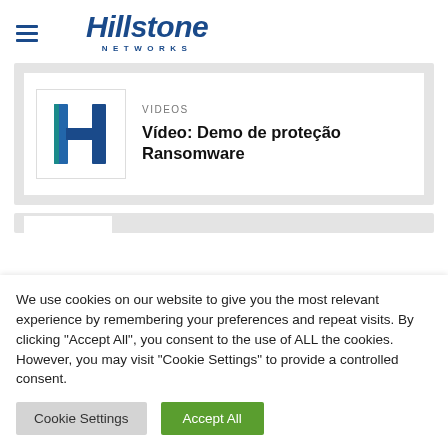[Figure (logo): Hillstone Networks logo with hamburger menu icon]
[Figure (screenshot): Video card thumbnail for 'Vídeo: Demo de proteção Ransomware' with Hillstone H logo thumbnail, category label VIDEOS]
We use cookies on our website to give you the most relevant experience by remembering your preferences and repeat visits. By clicking "Accept All", you consent to the use of ALL the cookies. However, you may visit "Cookie Settings" to provide a controlled consent.